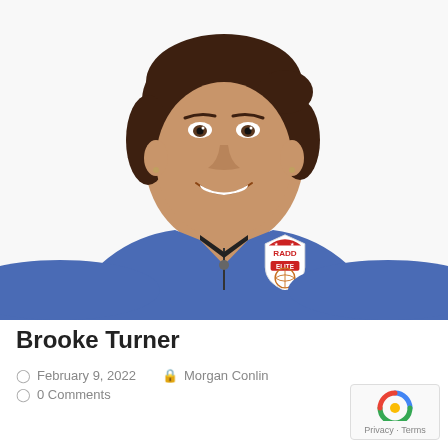[Figure (photo): Headshot/portrait photo of Brooke Turner, a young woman with dark hair pulled back, wearing a blue quarter-zip pullover with 'RADD ELITE' logo on the left chest, smiling against a white background.]
Brooke Turner
February 9, 2022   Morgan Conlin   0 Comments